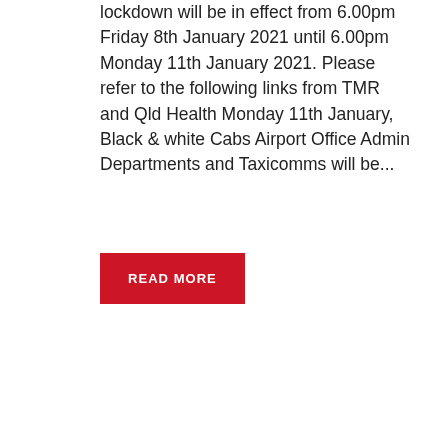lockdown will be in effect from 6.00pm Friday 8th January 2021 until 6.00pm Monday 11th January 2021. Please refer to the following links from TMR and Qld Health Monday 11th January, Black & white Cabs Airport Office Admin Departments and Taxicomms will be...
READ MORE